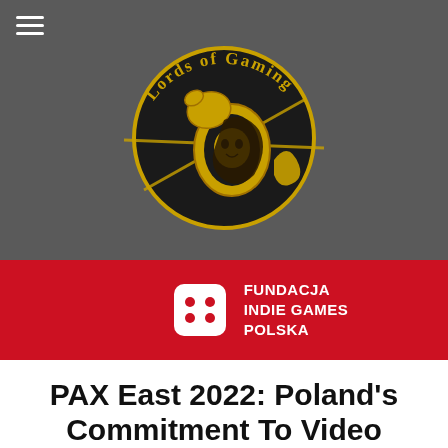[Figure (logo): Lords of Gaming logo: circular emblem with a horse/wolf knight holding a shield with gold coloring on dark gray background, with 'Lords of Gaming' text in gothic font arc above]
[Figure (logo): Fundacja Indie Games Polska logo: white game controller / dice icon on red background with white text 'FUNDACJA INDIE GAMES POLSKA']
PAX East 2022: Poland’s Commitment To Video Games
APRIL 27TH, 2022   EUGENE SCHAFFMEIR
GAMING, NINTENDO, PAX, PAX EAST, PC, PLAYSTATION,